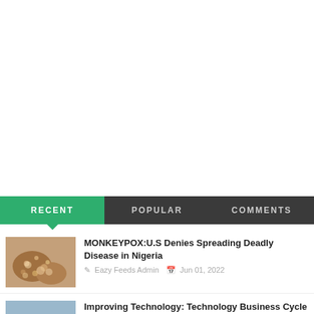RECENT | POPULAR | COMMENTS
MONKEYPOX:U.S Denies Spreading Deadly Disease in Nigeria
Eazy Feeds Admin   Jun 01, 2022
Improving Technology: Technology Business Cycle For